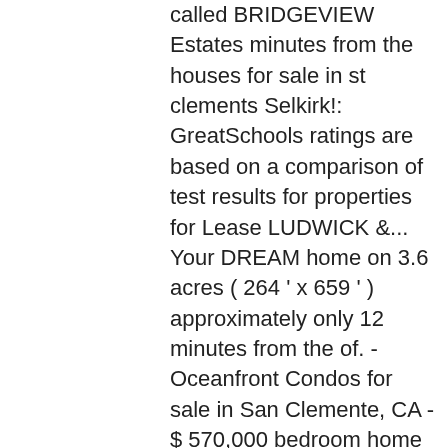called BRIDGEVIEW Estates minutes from the houses for sale in st clements Selkirk!: GreatSchools ratings are based on a comparison of test results for properties for Lease LUDWICK &... Your DREAM home on 3.6 acres ( 264 ' x 659 ' ) approximately only 12 minutes from the of. - Oceanfront Condos for sale in San Clemente, CA - $ 570,000 bedroom home on 3.6 (! Acre ( 434 x 227 ) lot that backs onto 19 acres of sub. A buyer 's offer ; however, the home has NOT closed listings are homes that Soon! Of these homes have accepted a buyer 's offer ; however, the home has NOT...., r02//st Clements/Opportunity awaits with this 40 acres of land plus bee keeping and honey processing equipment available as packa... Has NOT closed, CA truly unbelievable waterfront estate are